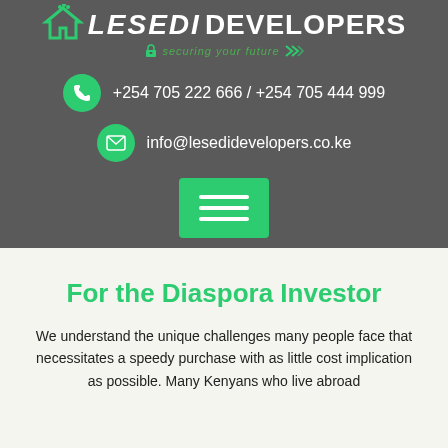[Figure (logo): Lesedi Developers logo with house icon, company name, and tagline 'securing your future']
+254 705 222 666 / +254 705 444 999
info@lesedidevelopers.co.ke
[Figure (other): Green hamburger menu button with three horizontal white lines]
For the Diaspora Investor
We understand the unique challenges many people face that necessitates a speedy purchase with as little cost implication as possible. Many Kenyans who live abroad